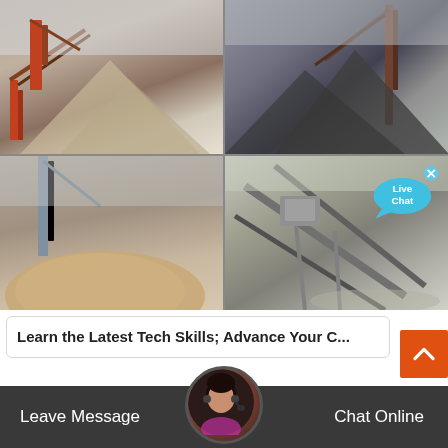[Figure (photo): Four-panel photo grid showing industrial mining/crushing machinery and equipment with conveyor belts and rock/gravel piles at a quarry or mining site.]
[Figure (infographic): Live Chat speech bubble icon in cyan/turquoise color with white text 'Live Chat' and an X close button, overlaid on the top-right photo.]
Learn the Latest Tech Skills; Advance Your C...
Advance your career with online courses in programming, data science, artificial intelligence, digital marketing, and... Built with industry...
[Figure (illustration): Orange scroll-to-top button with white chevron/arrow icon on the right side.]
Leave Message
Chat Online
[Figure (photo): Customer service agent avatar photo — woman with headset, circular portrait.]